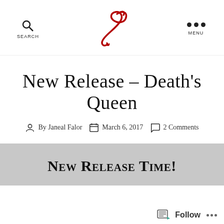SEARCH | [logo] | MENU
New Release – Death's Queen
By Janeal Falor  March 6, 2017  2 Comments
New Release Time!